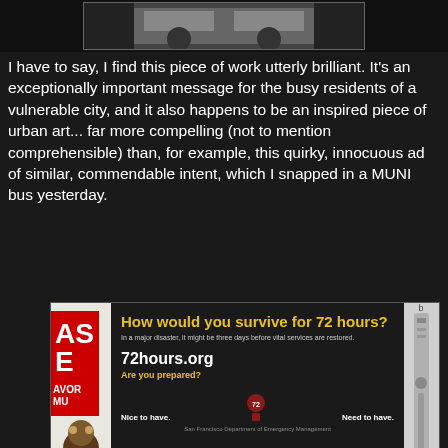[Figure (photo): Top portion of a photo showing what appears to be cars or a street scene, partially cropped at the top of the page]
I have to say, I find this piece of work utterly brilliant. It's an exceptionally important message for the busy residents of a vulnerable city, and it also happens to be an inspired piece of urban art... far more compelling (not to mention comprehensible) than, for example, this quirky, innocuous ad of similar, commendable intent, which I snapped in a MUNI bus yesterday.
[Figure (photo): Photo of a MUNI bus advertisement featuring a toy monkey with cymbals, promoting 72hours.org disaster preparedness campaign. Text on ad reads: 'How would you survive for 72 hours? In a major disaster, it might be three days before vital services are restored. 72hours.org Are you prepared? Nice to have. Need to have.']
The public disaster billboard and image on the page below